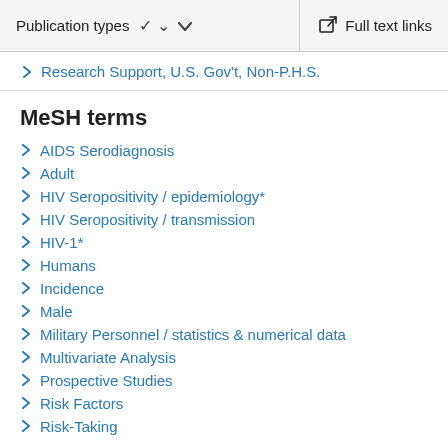Publication types  ∨   Full text links
Research Support, U.S. Gov't, Non-P.H.S.
MeSH terms
AIDS Serodiagnosis
Adult
HIV Seropositivity / epidemiology*
HIV Seropositivity / transmission
HIV-1*
Humans
Incidence
Male
Military Personnel / statistics & numerical data
Multivariate Analysis
Prospective Studies
Risk Factors
Risk-Taking